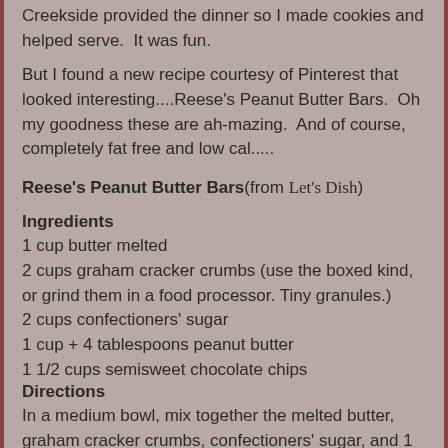Creekside provided the dinner so I made cookies and helped serve.  It was fun.
But I found a new recipe courtesy of Pinterest that looked interesting....Reese's Peanut Butter Bars.  Oh my goodness these are ah-mazing.  And of course, completely fat free and low cal.....
Reese's Peanut Butter Bars(from Let's Dish)
Ingredients
1 cup butter melted
2 cups graham cracker crumbs (use the boxed kind, or grind them in a food processor. Tiny granules.)
2 cups confectioners' sugar
1 cup + 4 tablespoons peanut butter
1 1/2 cups semisweet chocolate chips
Directions
In a medium bowl, mix together the melted butter, graham cracker crumbs, confectioners' sugar, and 1 cup peanut butter until well blended. Press evenly into the bottom of an ungreased 9×13 inch pan. In a metal bowl over simmering